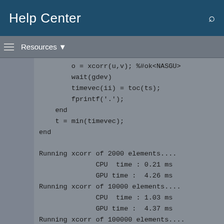Help Center
Resources ▼
o = xcorr(u,v); %#ok<NASGU>
        wait(gdev)
        timevec(ii) = toc(ts);
        fprintf('.');
    end
    t = min(timevec);
end

Running xcorr of 2000 elements....
              CPU  time : 0.21 ms
              GPU time :  4.26 ms
Running xcorr of 10000 elements....
              CPU  time : 1.03 ms
              GPU time :  4.37 ms
Running xcorr of 100000 elements....
              CPU  time : 14.04 ms
              GPU time :  6.28 ms
Running xcorr of 500000 elements....
              CPU  time : 55.00